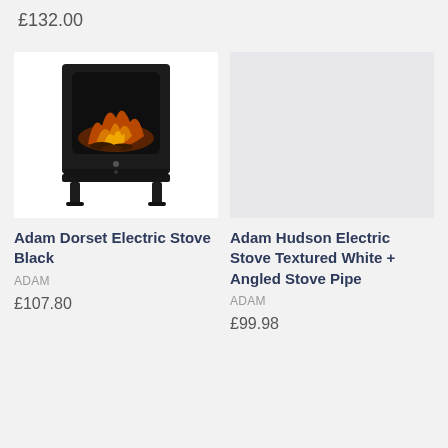£132.00
[Figure (photo): Black electric stove heater with glowing fire effect, on four angled legs]
Adam Dorset Electric Stove Black
ADAM
£107.80
[Figure (photo): Placeholder light grey image for Adam Hudson Electric Stove product]
Adam Hudson Electric Stove Textured White + Angled Stove Pipe
ADAM
£99.98